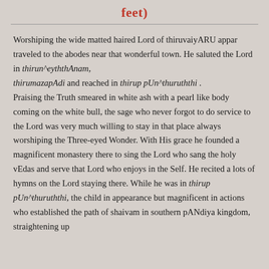feet)
Worshiping the wide matted haired Lord of thiruvaiyARU appar traveled to the abodes near that wonderful town. He saluted the Lord in thirun^eyththAnam, thirumazapAdi and reached in thirup pUn^thuruththi . Praising the Truth smeared in white ash with a pearl like body coming on the white bull, the sage who never forgot to do service to the Lord was very much willing to stay in that place always worshiping the Three-eyed Wonder. With His grace he founded a magnificent monastery there to sing the Lord who sang the holy vEdas and serve that Lord who enjoys in the Self. He recited a lots of hymns on the Lord staying there. While he was in thirup pUn^thuruththi, the child in appearance but magnificent in actions who established the path of shaivam in southern pANdiya kingdom, straightening up